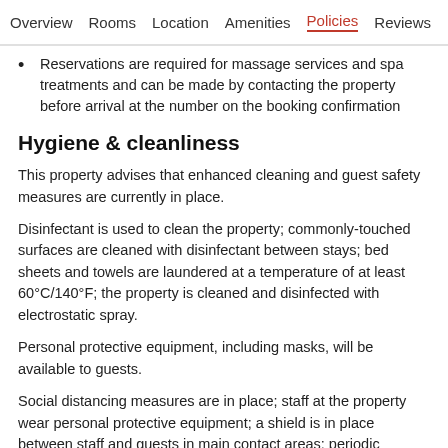Overview  Rooms  Location  Amenities  Policies  Reviews
Reservations are required for massage services and spa treatments and can be made by contacting the property before arrival at the number on the booking confirmation
Hygiene & cleanliness
This property advises that enhanced cleaning and guest safety measures are currently in place.
Disinfectant is used to clean the property; commonly-touched surfaces are cleaned with disinfectant between stays; bed sheets and towels are laundered at a temperature of at least 60°C/140°F; the property is cleaned and disinfected with electrostatic spray.
Personal protective equipment, including masks, will be available to guests.
Social distancing measures are in place; staff at the property wear personal protective equipment; a shield is in place between staff and guests in main contact areas; periodic temperature checks are conducted on staff; temperature checks are available to guests; guests are provided with hand sanitizer; cashless payment methods are available for all transactions; masks are required in public areas